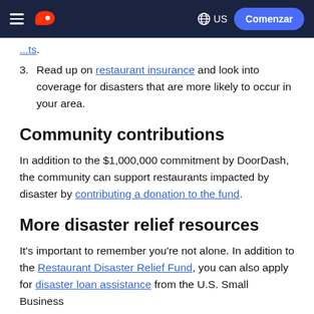DoorDash navigation header with hamburger menu, DoorDash logo, US language selector, and Comenzar button
[partial link text ending in] ...ts.
3. Read up on restaurant insurance and look into coverage for disasters that are more likely to occur in your area.
Community contributions
In addition to the $1,000,000 commitment by DoorDash, the community can support restaurants impacted by disaster by contributing a donation to the fund.
More disaster relief resources
It's important to remember you're not alone. In addition to the Restaurant Disaster Relief Fund, you can also apply for disaster loan assistance from the U.S. Small Business